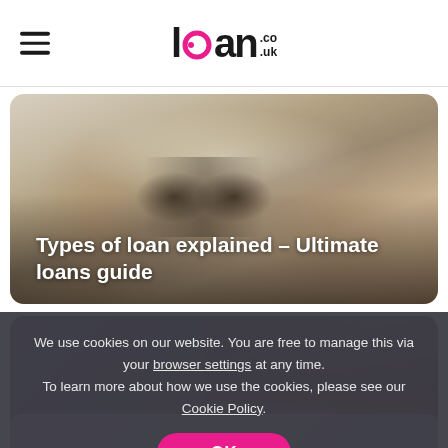loan.co.uk
[Figure (photo): Hero image of a desk with glasses and books, with title overlay: Types of loan explained – Ultimate loans guide]
Types of loan explained – Ultimate loans guide
[Figure (photo): Photo of a man with glasses sitting in front of a bookshelf, thinking. Faded title: Financial Dictionary – Understanding Financial Jargon]
We use cookies on our website. You are free to manage this via your browser settings at any time. To learn more about how we use the cookies, please see our Cookie Policy.
OK